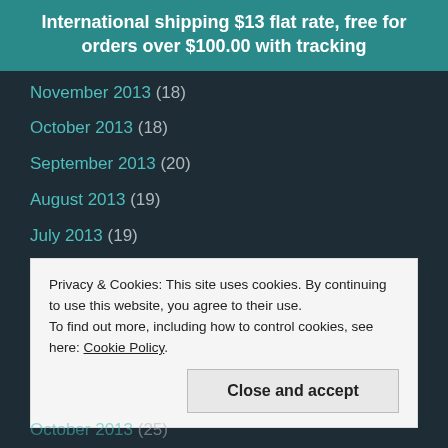International shipping $13 flat rate, free for orders over $100.00 with tracking
November 2013 (18)
October 2013 (18)
September 2013 (20)
August 2013 (19)
July 2013 (19)
June 2013 (10)
May 2013 (21)
April 2013 (19)
March 2013 (17)
Privacy & Cookies: This site uses cookies. By continuing to use this website, you agree to their use. To find out more, including how to control cookies, see here: Cookie Policy
October 2013 (25)